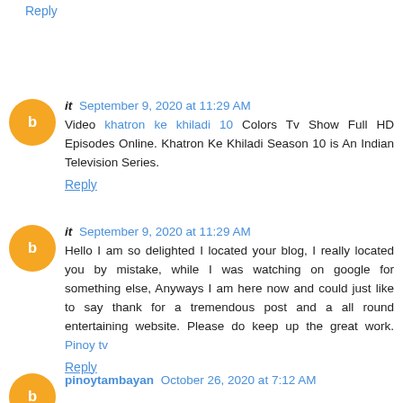Reply
it  September 9, 2020 at 11:29 AM
Video khatron ke khiladi 10 Colors Tv Show Full HD Episodes Online. Khatron Ke Khiladi Season 10 is An Indian Television Series.
Reply
it  September 9, 2020 at 11:29 AM
Hello I am so delighted I located your blog, I really located you by mistake, while I was watching on google for something else, Anyways I am here now and could just like to say thank for a tremendous post and a all round entertaining website. Please do keep up the great work. Pinoy tv
Reply
pinoytambayan  October 26, 2020 at 7:12 AM